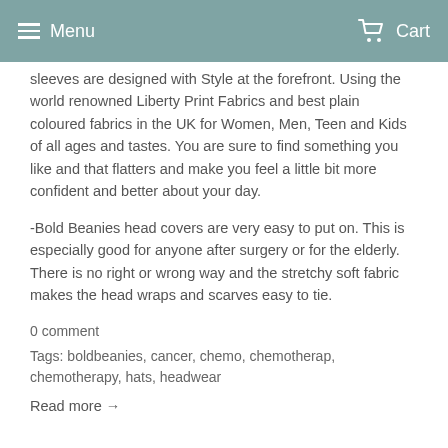Menu   Cart
sleeves are designed with Style at the forefront. Using the world renowned Liberty Print Fabrics and best plain coloured fabrics in the UK for Women, Men, Teen and Kids of all ages and tastes. You are sure to find something you like and that flatters and make you feel a little bit more confident and better about your day.
-Bold Beanies head covers are very easy to put on. This is especially good for anyone after surgery or for the elderly. There is no right or wrong way and the stretchy soft fabric makes the head wraps and scarves easy to tie.
0 comment
Tags: boldbeanies, cancer, chemo, chemotherap, chemotherapy, hats, headwear
Read more →